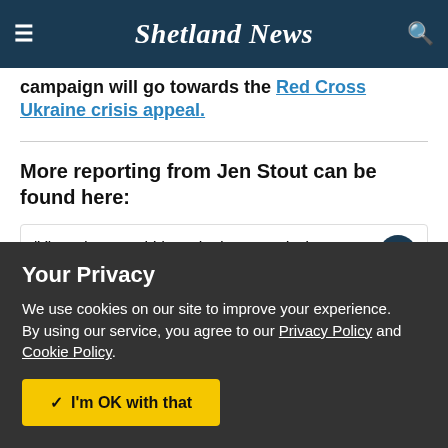Shetland News
campaign will go towards the Red Cross Ukraine crisis appeal.
More reporting from Jen Stout can be found here:
'Y'was is a word I heard a lot recently. It
Your Privacy
We use cookies on our site to improve your experience.
By using our service, you agree to our Privacy Policy and Cookie Policy.
I'm OK with that